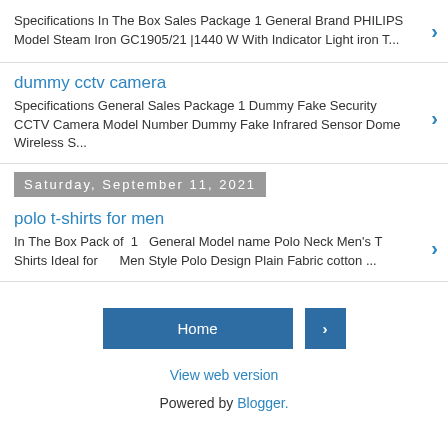Specifications In The Box Sales Package 1 General Brand PHILIPS Model Steam Iron GC1905/21 |1440 W With Indicator Light iron T...
dummy cctv camera
Specifications General Sales Package 1 Dummy Fake Security CCTV Camera Model Number Dummy Fake Infrared Sensor Dome Wireless S...
Saturday, September 11, 2021
polo t-shirts for men
In The Box Pack of  1   General Model name Polo Neck Men's T Shirts Ideal for      Men Style Polo Design Plain Fabric cotton ...
Home
View web version
Powered by Blogger.